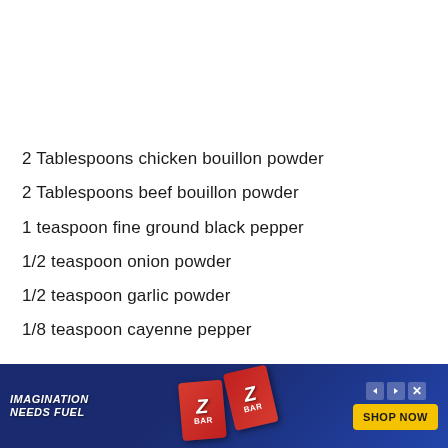2 Tablespoons chicken bouillon powder
2 Tablespoons beef bouillon powder
1 teaspoon fine ground black pepper
1/2 teaspoon onion powder
1/2 teaspoon garlic powder
1/8 teaspoon cayenne pepper
Place mixture in an airtight container. Use one ... er
[Figure (other): Advertisement banner for Clif Z-Bar product with 'IMAGINATION NEEDS FUEL' text and 'SHOP NOW' button]